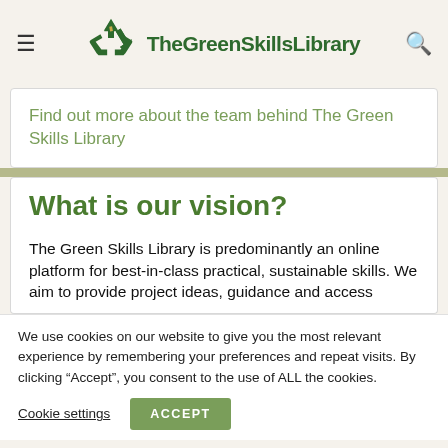TheGreenSkillsLibrary
Find out more about the team behind The Green Skills Library
What is our vision?
The Green Skills Library is predominantly an online platform for best-in-class practical, sustainable skills. We aim to provide project ideas, guidance and access
We use cookies on our website to give you the most relevant experience by remembering your preferences and repeat visits. By clicking “Accept”, you consent to the use of ALL the cookies.
Cookie settings   ACCEPT